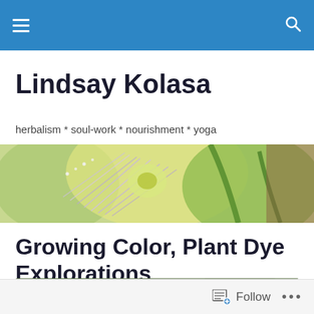Navigation bar with menu and search icons
Lindsay Kolasa
herbalism * soul-work * nourishment * yoga
[Figure (photo): Close-up photo of a passionflower with purple and white filaments and yellow-green center against a green background]
Growing Color, Plant Dye Explorations
[Figure (photo): Partial view of a plant article photo showing green leaves and branches with blurred background]
Follow ...